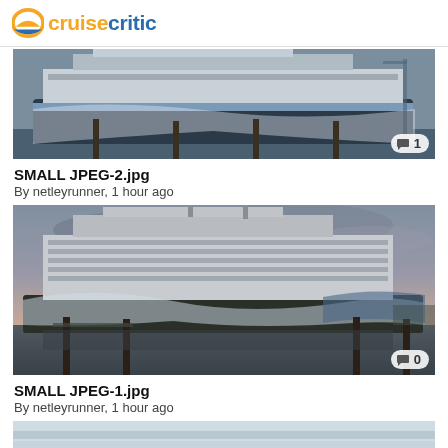cruise critic
[Figure (photo): Cruise ship docked at port, side view, white hull with artistic design, comment badge showing 1]
SMALL JPEG-2.jpg
By netleyrunner, 1 hour ago
[Figure (photo): Large cruise ship at dusk/dawn, moody sky with pink and grey clouds, docked at port with wooden pilings, comment badge showing 0]
SMALL JPEG-1.jpg
By netleyrunner, 1 hour ago
[Figure (photo): Partial view of another cruise ship image at bottom of page, partially cropped]